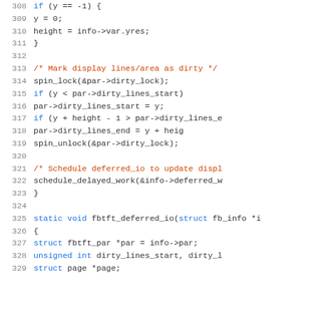Source code listing, lines 308-329, C code for fbtft display driver